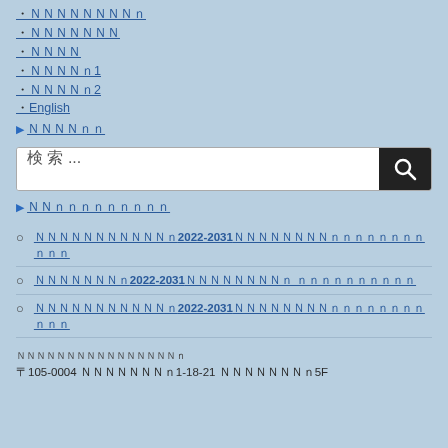ＮＮＮＮＮＮＮＮｎ
ＮＮＮＮＮＮＮ
ＮＮＮＮ
ＮＮＮＮｎ1
ＮＮＮＮｎ2
English
▶ ＮＮＮＮｎｎ
検 索 ...
▶ ＮＮｎｎｎｎｎｎｎｎｎ
ＮＮＮＮＮＮＮＮＮＮＮｎ2022-2031ＮＮＮＮＮＮＮＮｎｎｎｎｎｎｎｎｎｎｎ
ＮＮＮＮＮＮＮｎ2022-2031ＮＮＮＮＮＮＮＮｎ ｎｎｎｎｎｎｎｎｎｎ
ＮＮＮＮＮＮＮＮＮＮＮｎ2022-2031ＮＮＮＮＮＮＮＮｎｎｎｎｎｎｎｎｎｎｎ
ＮＮＮＮＮＮＮＮＮＮＮＮＮＮＮＮｎ
〒105-0004 ＮＮＮＮＮＮＮｎ1-18-21 ＮＮＮＮＮＮＮｎ5F